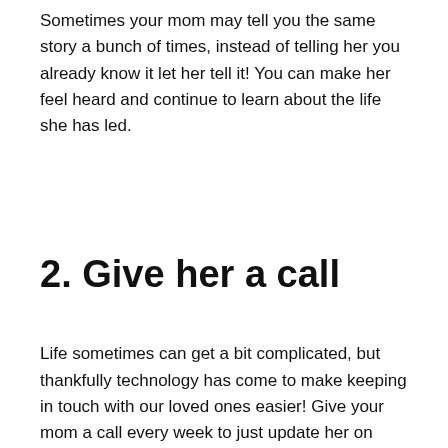Sometimes your mom may tell you the same story a bunch of times, instead of telling her you already know it let her tell it! You can make her feel heard and continue to learn about the life she has led.
2. Give her a call
Life sometimes can get a bit complicated, but thankfully technology has come to make keeping in touch with our loved ones easier! Give your mom a call every week to just update her on your life and keep her in the loop. She will feel closer to you even you are physically far away.
3. Bring her some of her